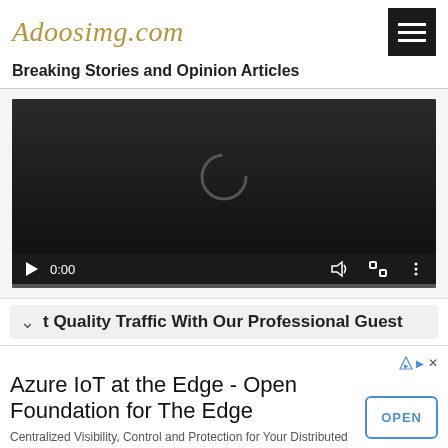Adoosimg.com — Breaking Stories and Opinion Articles
[Figure (screenshot): Embedded video player showing a loading spinner, time 0:00, with playback controls bar at the bottom including play button, time display, volume, fullscreen, and options icons.]
t Quality Traffic With Our Professional Guest
Azure IoT at the Edge - Open Foundation for The Edge
Centralized Visibility, Control and Protection for Your Distributed Edge zededa.com